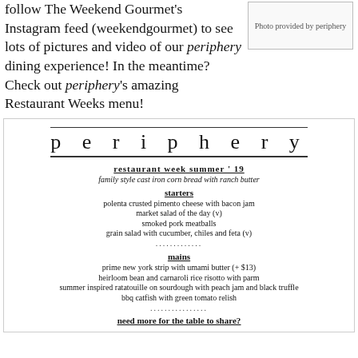follow The Weekend Gourmet's Instagram feed (weekendgourmet) to see lots of pictures and video of our periphery dining experience! In the meantime? Check out periphery's amazing Restaurant Weeks menu!
[Figure (other): Photo provided by periphery placeholder box]
[Figure (other): periphery restaurant week summer '19 menu]
restaurant week summer '19
family style cast iron corn bread with ranch butter
starters
polenta crusted pimento cheese with bacon jam
market salad of the day (v)
smoked pork meatballs
grain salad with cucumber, chiles and feta (v)
mains
prime new york strip with umami butter (+ $13)
heirloom bean and carnaroli rice risotto with parm
summer inspired ratatouille on sourdough with peach jam and black truffle
bbq catfish with green tomato relish
need more for the table to share?